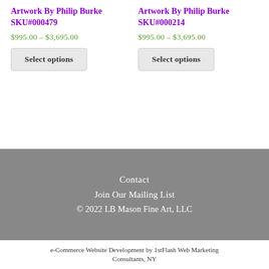Artwork By Philip Burke SKU#000479
$995.00 – $3,695.00
Select options
Artwork By Philip Burke SKU#000214
$995.00 – $3,695.00
Select options
Contact
Join Our Mailing List
© 2022 LB Mason Fine Art, LLC
e-Commerce Website Development by 1stFlash Web Marketing Consultants, NY